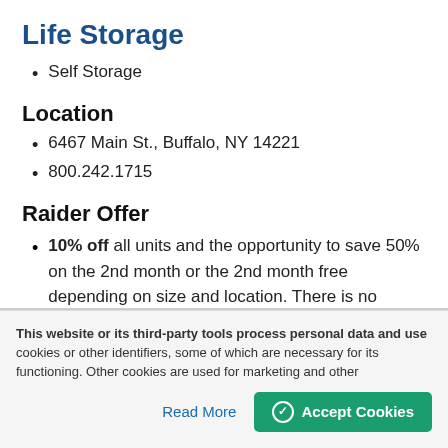Life Storage
Self Storage
Location
6467 Main St., Buffalo, NY 14221
800.242.1715
Raider Offer
10% off all units and the opportunity to save 50% on the 2nd month or the 2nd month free depending on size and location. There is no expiration date
This website or its third-party tools process personal data and use cookies or other identifiers, some of which are necessary for its functioning. Other cookies are used for marketing and other
Read More
Accept Cookies